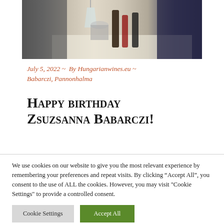[Figure (photo): Photo of wine tasting event showing hands pouring wine with wine bottles on a table, indoor setting]
July 5, 2022 ~  By Hungarianwines.eu ~ Babarczi, Pannonhalma
Happy birthday Zsuzsanna Babarczi!
We use cookies on our website to give you the most relevant experience by remembering your preferences and repeat visits. By clicking “Accept All”, you consent to the use of ALL the cookies. However, you may visit "Cookie Settings" to provide a controlled consent.